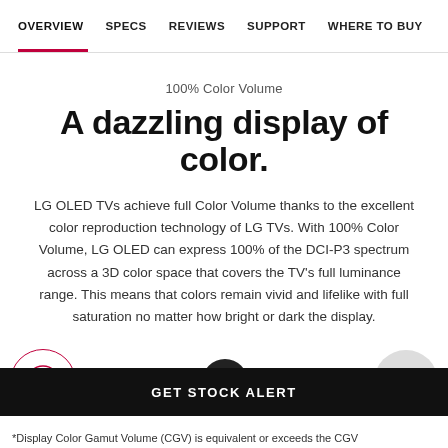OVERVIEW  SPECS  REVIEWS  SUPPORT  WHERE TO BUY
100% Color Volume
A dazzling display of color.
LG OLED TVs achieve full Color Volume thanks to the excellent color reproduction technology of LG TVs. With 100% Color Volume, LG OLED can express 100% of the DCI-P3 spectrum across a 3D color space that covers the TV's full luminance range. This means that colors remain vivid and lifelike with full saturation no matter how bright or dark the display.
[Figure (infographic): Three UI control buttons in a row: a circular chat bubble icon with pink ellipsis on left, a dark circular pause button in center, and a light circular up-arrow button on right.]
GET STOCK ALERT
*Display Color Gamut Volume (CGV) is equivalent or exceeds the CGV